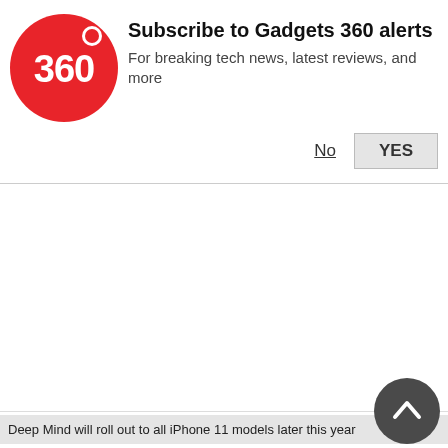[Figure (logo): Gadgets 360 red circular logo with '360' text in white]
Subscribe to Gadgets 360 alerts
For breaking tech news, latest reviews, and more
No   YES
Deep Mind will roll out to all iPhone 11 models later this year
[Figure (infographic): Social sharing icons row: WhatsApp (green), Facebook (dark blue), Twitter (light blue), Snapchat (yellow), Email (gray)]
Phone 11 and iPhone 11 Pro phones were launched by Apple earlier this week as the company's latest flagship devices. One of the key highlights of the new iPhones are the cameras. The iPhone 11 comes with a dual rear camera setup while the iPhone 11 Pro models include a triple rear camera setup. The cameras include